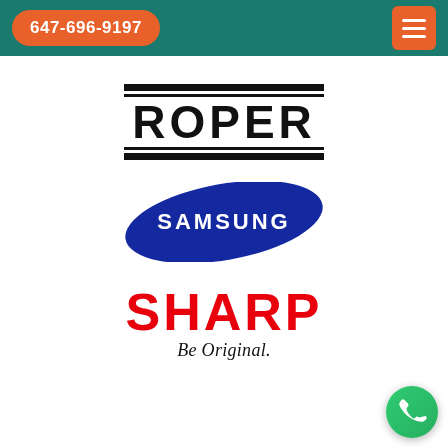647-696-9197
[Figure (logo): Roper brand logo in black with two thick lines above and below the ROPER text]
[Figure (logo): Samsung logo - blue ellipse with white SAMSUNG text]
[Figure (logo): Sharp logo - red bold SHARP text with tagline 'Be Original.' below in italic serif]
[Figure (logo): Partial logo/signature visible at bottom, cut off]